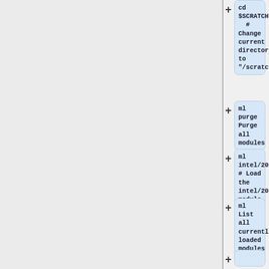cd $SCRATCH  # Change current directory to "/scratch/user/[netID]/"
ml purge  # Purge all modules
ml intel/2016b  # Load the intel/2016b module
ml  # List all currently loaded modules
./myProgram.o  # Run